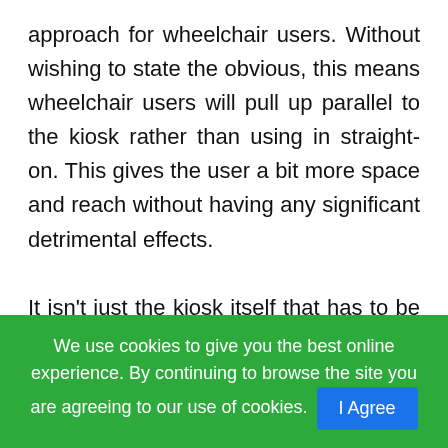approach for wheelchair users. Without wishing to state the obvious, this means wheelchair users will pull up parallel to the kiosk rather than using in straight-on. This gives the user a bit more space and reach without having any significant detrimental effects.

It isn't just the kiosk itself that has to be considered but also the way it is installed. We need to ensure that when the kiosk is installed
We use cookies to give you the best online experience. By continuing to browse the site you are agreeing to our use of cookies. I Agree